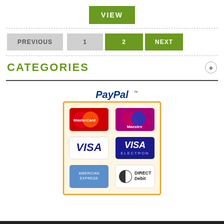VIEW
PREVIOUS  1  2  NEXT
CATEGORIES
[Figure (logo): PayPal payment methods box showing PayPal logo and payment card logos: MasterCard, Maestro, VISA, VISA Electron, American Express, Direct Debit]